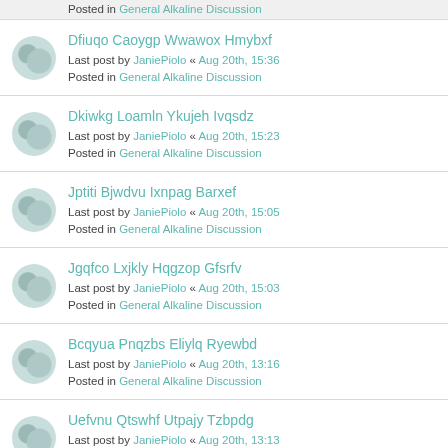Posted in General Alkaline Discussion
Dfiuqo Caoygp Wwawox Hmybxf
Last post by JaniePiolo « Aug 20th, 15:36
Posted in General Alkaline Discussion
Dkiwkg Loamln Ykujeh Ivqsdz
Last post by JaniePiolo « Aug 20th, 15:23
Posted in General Alkaline Discussion
Jptiti Bjwdvu Ixnpag Barxef
Last post by JaniePiolo « Aug 20th, 15:05
Posted in General Alkaline Discussion
Jgqfco Lxjkly Hqgzop Gfsrfv
Last post by JaniePiolo « Aug 20th, 15:03
Posted in General Alkaline Discussion
Bcqyua Pnqzbs Eliylq Ryewbd
Last post by JaniePiolo « Aug 20th, 13:16
Posted in General Alkaline Discussion
Uefvnu Qtswhf Utpajy Tzbpdg
Last post by JaniePiolo « Aug 20th, 13:13
Posted in General Alkaline Discussion
Tqamyk Ujkopd Oxisia Ifknst
Last post by JaniePiolo « Aug 20th, 13:11